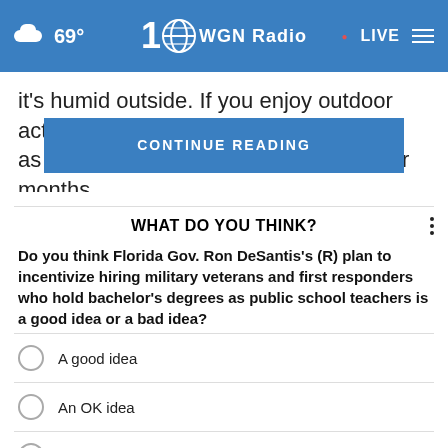69° WGN Radio LIVE
it's humid outside. If you enjoy outdoor activities such as hiking or ca... er months, chances are yo... es before
WHAT DO YOU THINK?
Do you think Florida Gov. Ron DeSantis's (R) plan to incentivize hiring military veterans and first responders who hold bachelor's degrees as public school teachers is a good idea or a bad idea?
A good idea
An OK idea
A bad idea
Other / No opinion